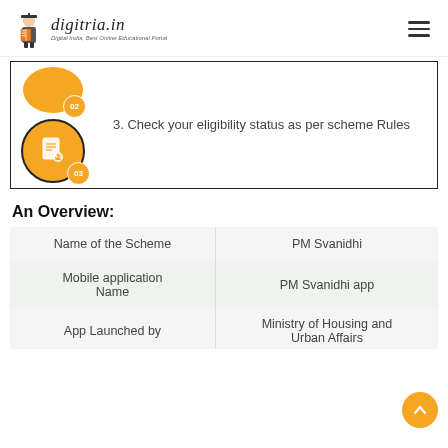digitria.in - Digital India, Best Online Educational Portal
[Figure (infographic): Step 02 orange bubble (partial, top) with downward arrow leading to Step 03 orange bubble with document/checklist icon, numbered badges 02 and 03]
3. Check your eligibility status as per scheme Rules
An Overview:
| Name of the Scheme | PM Svanidhi |
| --- | --- |
| Mobile application Name | PM Svanidhi app |
| App Launched by | Ministry of Housing and Urban Affairs |